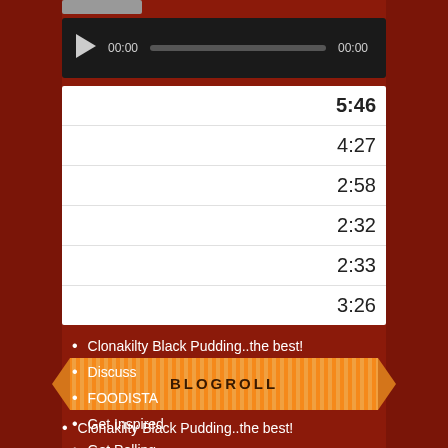[Figure (screenshot): Audio media player with play button, 00:00 start time, progress bar, and 00:00 end time on dark background]
| 5:46 |
| 4:27 |
| 2:58 |
| 2:32 |
| 2:33 |
| 3:26 |
BLOGROLL
Clonakilty Black Pudding..the best!
Discuss
FOODISTA
Get Inspired
Get Polling
Get Support
Gourmandize
Great Taste